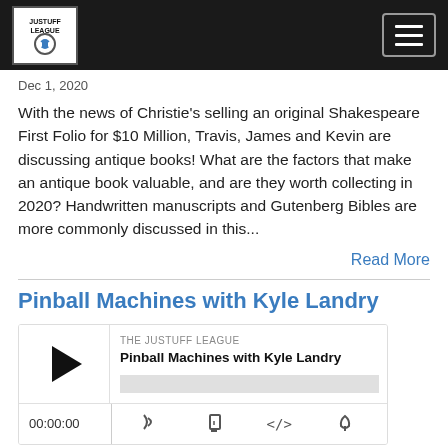JUSTUFF LEAGUE [logo and hamburger menu]
Dec 1, 2020
With the news of Christie's selling an original Shakespeare First Folio for $10 Million, Travis, James and Kevin are discussing antique books! What are the factors that make an antique book valuable, and are they worth collecting in 2020? Handwritten manuscripts and Gutenberg Bibles are more commonly discussed in this...
Read More
Pinball Machines with Kyle Landry
[Figure (other): Audio player widget showing THE JUSTUFF LEAGUE podcast episode 'Pinball Machines with Kyle Landry' with play button, progress bar, timestamp 00:00:00, and control icons]
Nov 24, 2020